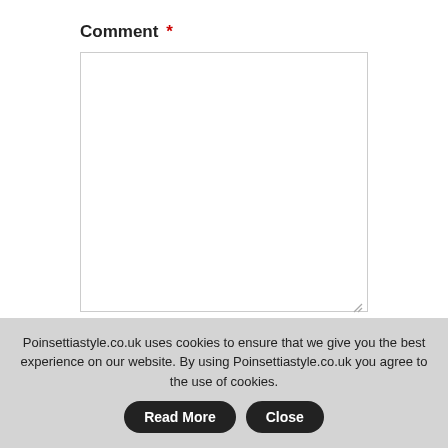Comment *
POST COMMENT
Also in The Latest Fashion News from Poinsettia's Style Team
Poinsettiastyle.co.uk uses cookies to ensure that we give you the best experience on our website. By using Poinsettiastyle.co.uk you agree to the use of cookies.